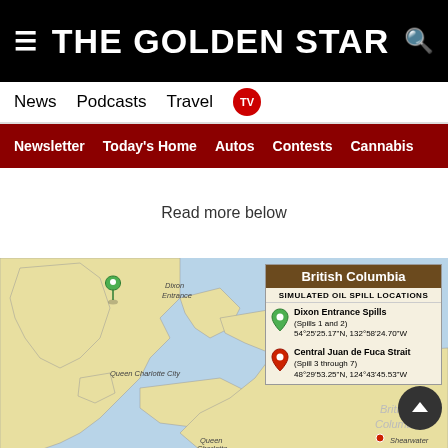THE GOLDEN STAR
News  Podcasts  Travel  TV
Newsletter  Today's Home  Autos  Contests  Cannabis
Read more below
[Figure (map): Map of British Columbia coast showing simulated oil spill locations. Legend box titled 'British Columbia' with 'SIMULATED OIL SPILL LOCATIONS'. Green pin: Dixon Entrance Spills (Spills 1 and 2) 54°25'25.17"N, 132°58'24.70"W. Red pin: Central Juan de Fuca Strait (Spill 3 through 7) 48°29'53.25"N, 124°43'45.53"W. Map shows Dixon Entrance, Prince Rupert, Kitimat, Queen Charlotte City, Hecate Strait, Shearwater, Queen Charlotte, British Columbia label.]